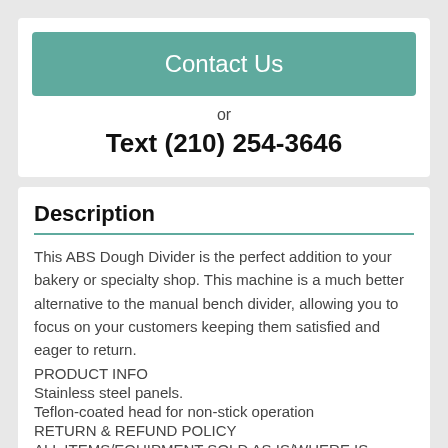Contact Us
or
Text (210) 254-3646
Description
This ABS Dough Divider is the perfect addition to your bakery or specialty shop. This machine is a much better alternative to the manual bench divider, allowing you to focus on your customers keeping them satisfied and eager to return.
PRODUCT INFO
Stainless steel panels.
Teflon-coated head for non-stick operation
RETURN & REFUND POLICY
ALL ITEMS/EQUIPMENT SOLD AS IS/WHERE IS